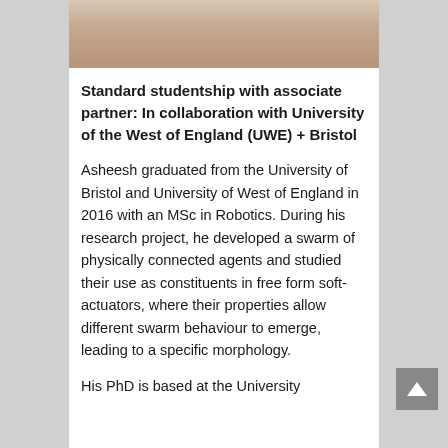[Figure (photo): Headshot photo of a person, partially visible at top of page]
Standard studentship with associate partner: In collaboration with University of the West of England (UWE) + Bristol
Asheesh graduated from the University of Bristol and University of West of England in 2016 with an MSc in Robotics. During his research project, he developed a swarm of physically connected agents and studied their use as constituents in free form soft-actuators, where their properties allow different swarm behaviour to emerge, leading to a specific morphology.
His PhD is based at the University